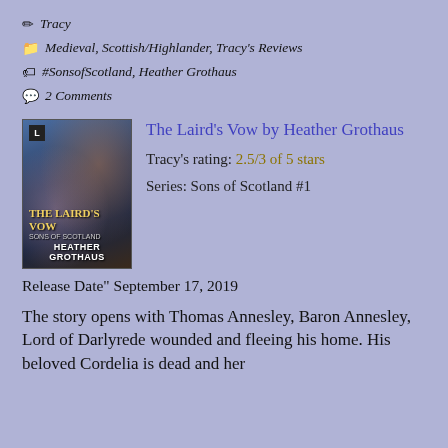✏ Tracy
📁 Medieval, Scottish/Highlander, Tracy's Reviews
🏷 #SonsofScotland, Heather Grothaus
💬 2 Comments
[Figure (photo): Book cover of The Laird's Vow by Heather Grothaus showing a romantic couple embracing, with the title in gold lettering and author name at the bottom]
The Laird's Vow by Heather Grothaus
Tracy's rating: 2.5/3 of 5 stars
Series: Sons of Scotland #1
Release Date" September 17, 2019
The story opens with Thomas Annesley, Baron Annesley, Lord of Darlyrede wounded and fleeing his home. His beloved Cordelia is dead and her